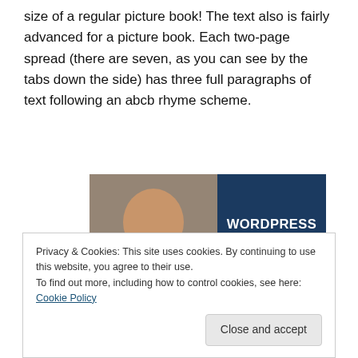size of a regular picture book!  The text also is fairly advanced for a picture book.  Each two-page spread (there are seven, as you can see by the tabs down the side) has three full paragraphs of text following an abcb rhyme scheme.
[Figure (infographic): Advertisement banner showing a smiling woman holding an OPEN sign, with dark blue right panel reading 'WORDPRESS HOSTING THAT MEANS BUSINESS.']
Privacy & Cookies: This site uses cookies. By continuing to use this website, you agree to their use.
To find out more, including how to control cookies, see here: Cookie Policy